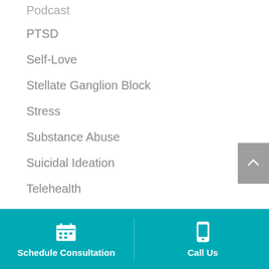Podcast
PTSD
Self-Love
Stellate Ganglion Block
Stress
Substance Abuse
Suicidal Ideation
Telehealth
Telemedicine
Trauma
Welln...
Schedule Consultation   Call Us